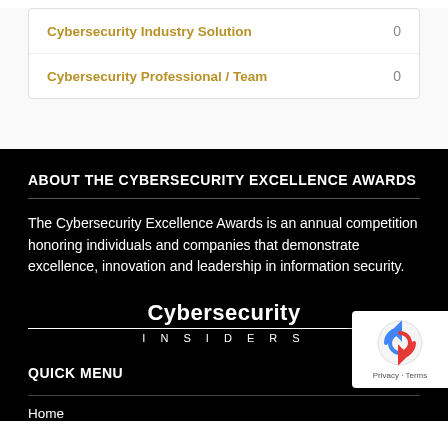| Category | Count |
| --- | --- |
| Cybersecurity Industry Solution | 0 |
| Cybersecurity Professional / Team | 0 |
ABOUT THE CYBERSECURITY EXCELLENCE AWARDS
The Cybersecurity Excellence Awards is an annual competition honoring individuals and companies that demonstrate excellence, innovation and leadership in information security.
[Figure (logo): Cybersecurity Insiders logo — bold 'Cybersecurity' text above 'INSIDERS' in spaced caps with a horizontal rule beneath]
QUICK MENU
Home